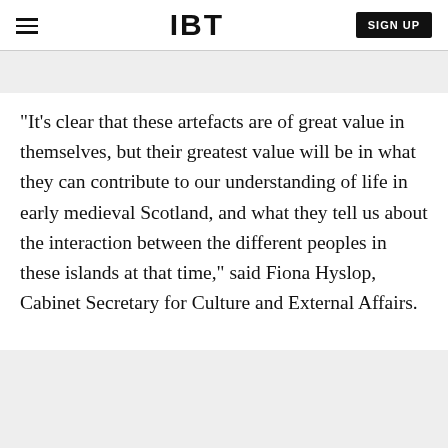IBT | SIGN UP
"It's clear that these artefacts are of great value in themselves, but their greatest value will be in what they can contribute to our understanding of life in early medieval Scotland, and what they tell us about the interaction between the different peoples in these islands at that time," said Fiona Hyslop, Cabinet Secretary for Culture and External Affairs.